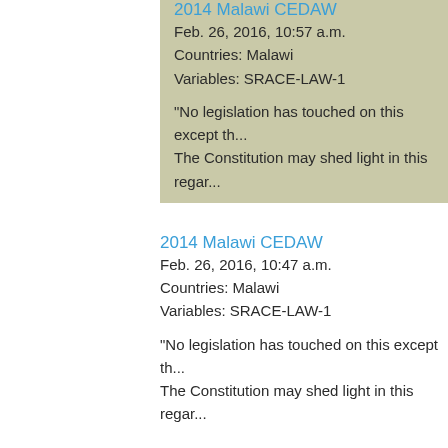2014 Malawi CEDAW
Feb. 26, 2016, 10:57 a.m.
Countries: Malawi
Variables: SRACE-LAW-1
"No legislation has touched on this except th... The Constitution may shed light in this regar...
2014 Malawi CEDAW
Feb. 26, 2016, 10:47 a.m.
Countries: Malawi
Variables: SRACE-LAW-1
"No legislation has touched on this except th... The Constitution may shed light in this regar...
CEDAW Senegal
Feb. 18, 2016, 4:31 p.m.
Countries: Senegal
Variables: SRACE-LAW-1
"There are no legal barriers that could affect...